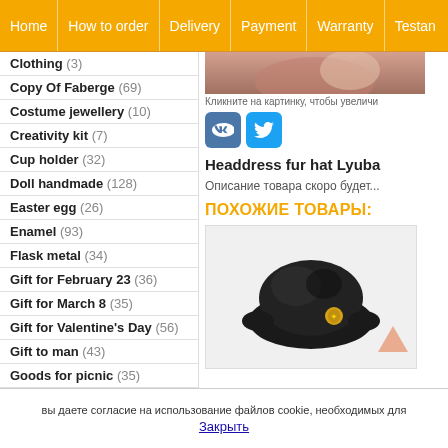Home | How to order | Delivery | Payment | Warranty | Testan
Clothing (3)
Copy Of Faberge (69)
Costume jewellery (10)
Creativity kit (7)
Cup holder (32)
Doll handmade (128)
Easter egg (26)
Enamel (93)
Flask metal (34)
Gift for February 23 (36)
Gift for March 8 (35)
Gift for Valentine's Day (56)
Gift to man (43)
Goods for picnic (35)
Gzhel (49)
Hairpin (21)
Кликните на картинку, чтобы увеличи
Headdress fur hat Lyuba
Описание товара скоро будет...
ПОХОЖИЕ ТОВАРЫ:
[Figure (photo): Black fur hat (ushanka style) with golden double-headed eagle emblem]
[Figure (other): Upward pointing arrow in light orange/salmon color]
вы даете согласие на использование файлов cookie, необходимых для
Закрыть